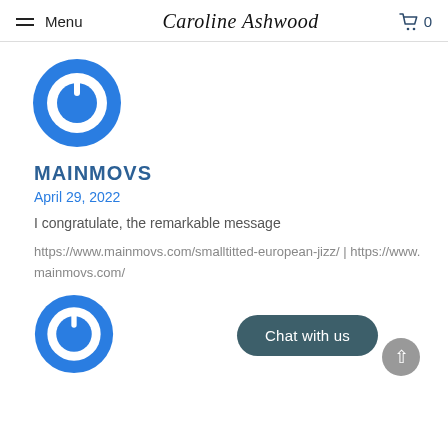Menu | Caroline Ashwood | 0
[Figure (logo): Blue circular power button icon, top of article]
MAINMOVS
April 29, 2022
I congratulate, the remarkable message
https://www.mainmovs.com/smalltitted-european-jizz/ | https://www.mainmovs.com/
[Figure (logo): Blue circular power button icon, bottom of page]
Chat with us